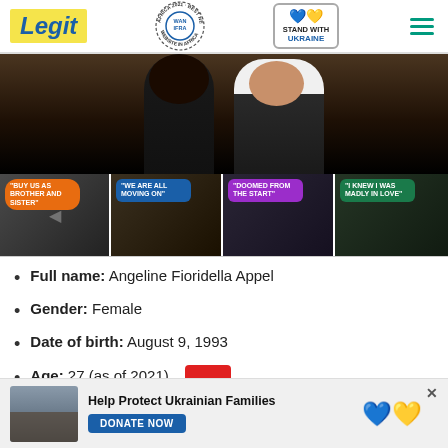Legit | WAN-IFRA Africa 2021 Best News Website in Africa | Stand with Ukraine
[Figure (photo): Hero image showing two people, a woman with long dark hair in black outfit and a man in white shirt and dark suit jacket]
[Figure (photo): Thumbnail strip with four celebrity/entertainment panels with speech bubble labels: 'Buy us as brother and sister', 'We are all moving on', 'Doomed from the start', 'I knew I was madly in love']
Full name: Angeline Fioridella Appel
Gender: Female
Date of birth: August 9, 1993
Age: 27 (as of 2021)
[Figure (photo): Advertisement banner: Help Protect Ukrainian Families with Donate Now button and Ukraine heart logo, photo of people in winter]